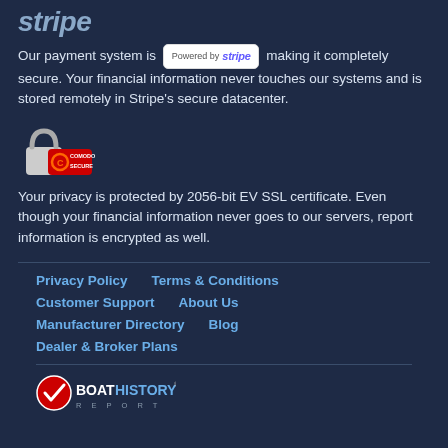stripe
Our payment system is Powered by stripe making it completely secure. Your financial information never touches our systems and is stored remotely in Stripe's secure datacenter.
[Figure (logo): Comodo Secure padlock logo with red Comodo badge]
Your privacy is protected by 2056-bit EV SSL certificate. Even though your financial information never goes to our servers, report information is encrypted as well.
Privacy Policy   Terms & Conditions   Customer Support   About Us   Manufacturer Directory   Blog   Dealer & Broker Plans
[Figure (logo): BoatHistory Report logo with checkmark icon]